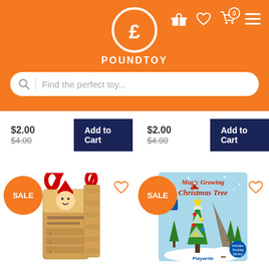POUNDTOY
Find the perfect toy...
$2.00
$4.00
Add to Cart
$2.00
$4.00
Add to Cart
[Figure (photo): SALE badge with product: Elf Christmas Countdown Good Behaviour Calendar - scratch-off card, hanging elf decoration]
[Figure (photo): SALE badge with product: Magic Growing Christmas Tree by Playwrite, 8+ age rating, shows growing tree toy in box]